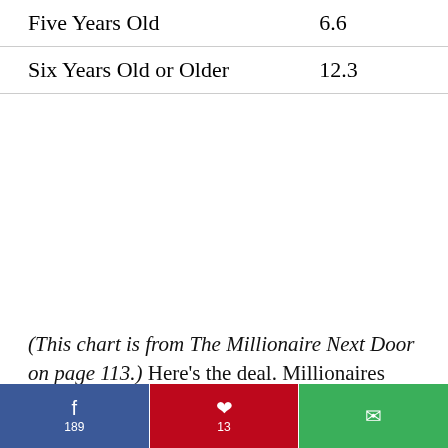|  |  |
| --- | --- |
| Five Years Old | 6.6 |
| Six Years Old or Older | 12.3 |
(This chart is from The Millionaire Next Door on page 113.) Here’s the deal. Millionaires don’t mind driving older cars. The masses who are in debt love owning new vehicles that cost $25,000+. Meanwhile, they can’t make their minimum car payments.
f 189 | p 13 | ✉